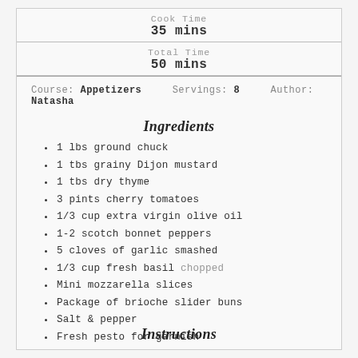Cook Time
35 mins
Total Time
50 mins
Course: Appetizers    Servings: 8    Author: Natasha
Ingredients
1 lbs ground chuck
1 tbs grainy Dijon mustard
1 tbs dry thyme
3 pints cherry tomatoes
1/3 cup extra virgin olive oil
1-2 scotch bonnet peppers
5 cloves of garlic smashed
1/3 cup fresh basil chopped
Mini mozzarella slices
Package of brioche slider buns
Salt & pepper
Fresh pesto for garnish
Instructions